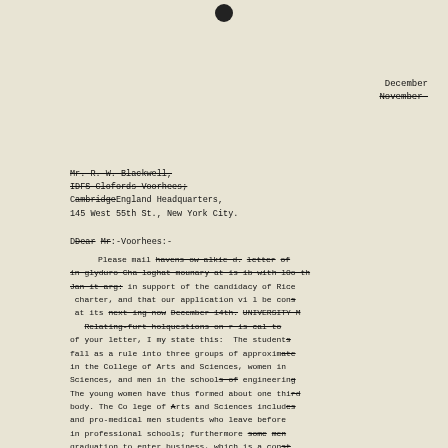December
November
Mr. R. W. Blackwell,
IDFS Clofords Voorhees;
Cambridge England Headquarters,
145 West 55th St., New York City.
Dear Mr.-Voorhees:-
Please mail have so walked letter of in glyduro Cha loghat mounary at is ib with l0o th Jan it arg: in support of the candidacy of Rice charter, and that our application vi l be con at its next ing now December 14th. UNIVERSITY M Relating-furt holquestions on r is cal to of your letter, I my state this: The student fall as a rule into three groups of approxim in the College of Arts and Sciences, women in Sciences, and men in the school of engineering. The young women have thus formed about one thi body. The College of Arts and Sciences includ and pro-medical men students who leave before in professional schools; furthermore some men graduation to enter business, which is a con community; so the women sometime outnumber the Class of the College of Arts and Sciences th